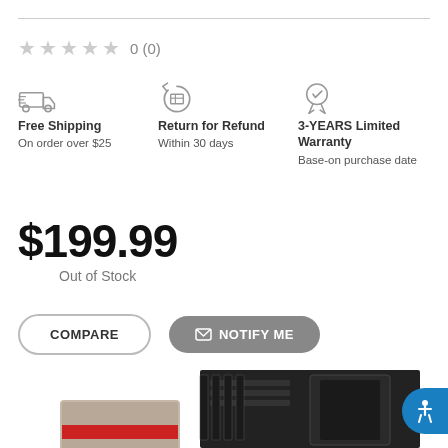★★★★★ 0 (0)
[Figure (infographic): Three benefit icons: Free Shipping truck icon, Return for Refund circular arrows icon, 3-YEARS Limited Warranty medal/badge icon]
Free Shipping
On order over $25
Return for Refund
Within 30 days
3-YEARS Limited Warranty
Base-on purchase date
$199.99
Out of Stock
COMPARE
NOTIFY ME
[Figure (photo): Product photo showing a motherboard (MSI) and its retail box, partially visible at the bottom of the page]